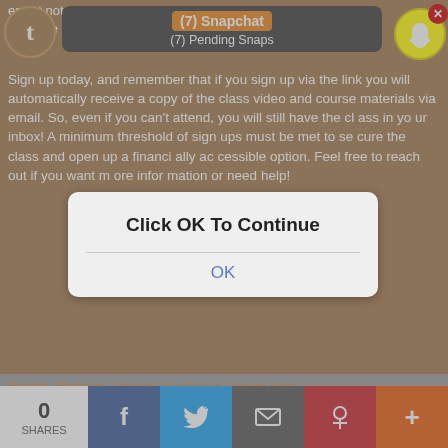[Figure (screenshot): Screenshot of a Snapchat notification bar overlay on a Tumblr page showing '(7) Snapchat' and '(7) Pending Snaps' with the Snapchat ghost logo icon and a red badge showing 1 notification, plus a red X close button]
interpret not only a translation but explore what culture provides. Sign up today, and remember that if you sign up via the link you will automatically receive a copy of the class video and course materials via email. So, even if you can't attend, you will still have the class in your inbox! A minimum threshold of sign ups must be met to secure the class and open up a financially accessible option. Feel free to reach out if you want more information or need help!
[Figure (screenshot): Modal dialog box overlaying the page with text 'Click OK To Continue' and a blue 'OK' button]
#jumblr #judaism #jewish #workshop #zoom class #shabbat #siddur #progressive judaism #liberal judaism
96 notes   View notes
0 SHARES
[Figure (screenshot): Social share bar at bottom with Facebook, Twitter, Email, Pinterest, and More (+) buttons]